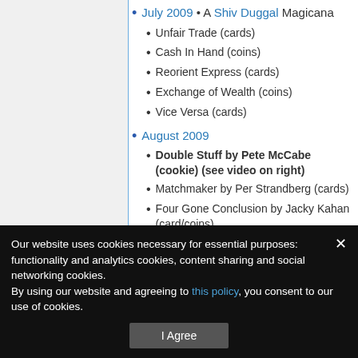July 2009 • A Shiv Duggal Magicana
Unfair Trade (cards)
Cash In Hand (coins)
Reorient Express (cards)
Exchange of Wealth (coins)
Vice Versa (cards)
August 2009
Double Stuff by Pete McCabe (cookie) (see video on right)
Matchmaker by Per Strandberg (cards)
Four Gone Conclusion by Jacky Kahan (card/coins)
Our website uses cookies necessary for essential purposes: functionality and analytics cookies, content sharing and social networking cookies.
By using our website and agreeing to this policy, you consent to our use of cookies.